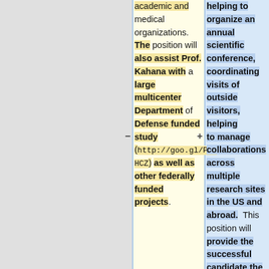academic and medical organizations. The position will also assist Prof. Kahana with a large multicenter Department of Defense funded study (http://goo.gl/PcIHCZ) as well as other federally funded projects.
helping to organize an annual scientific conference, coordinating visits of outside visitors, helping to manage collaborations across multiple research sites in the US and abroad. This position will provide the successful candidate the opportunity to act as the “right hand” to an academic leader who